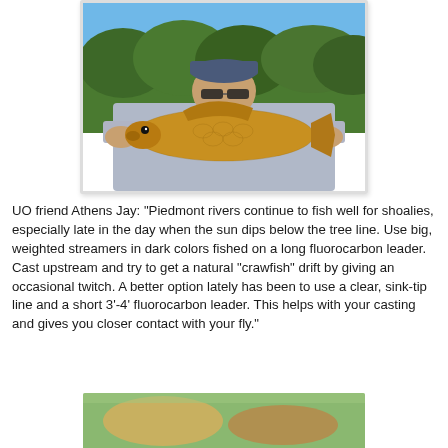[Figure (photo): Man holding a large golden-colored fish (carp/shoalie) outdoors with blue sky and green trees in background. Man is wearing a baseball cap and sunglasses.]
UO friend Athens Jay: “Piedmont rivers continue to fish well for shoalies, especially late in the day when the sun dips below the tree line. Use big, weighted streamers in dark colors fished on a long fluorocarbon leader. Cast upstream and try to get a natural “crawfish” drift by giving an occasional twitch. A better option lately has been to use a clear, sink-tip line and a short 3’-4’ fluorocarbon leader. This helps with your casting and gives you closer contact with your fly.”
[Figure (photo): Partial view of a second photo at the bottom of the page, showing what appears to be a close-up of a fish or fishing scene.]